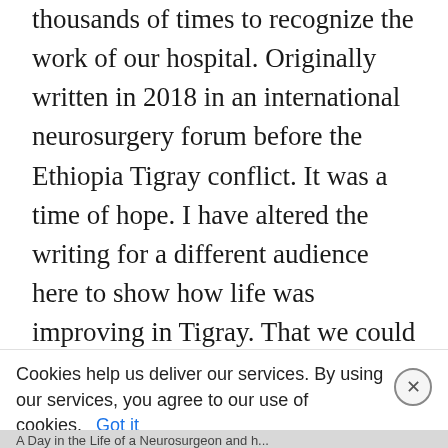thousands of times to recognize the work of our hospital. Originally written in 2018 in an international neurosurgery forum before the Ethiopia Tigray conflict. It was a time of hope. I have altered the writing for a different audience here to show how life was improving in Tigray. That we could bring something new to Tigray and help the farmers whose lives had seen too much killing and death in the past. I pray these days will come again. Advocates for blockade of Tigray which denies medical care to the people of Tigray try to paint them falsely as less then human. Instead the reality is that most of them are poor farmers living a hard life.
Cookies help us deliver our services. By using our services, you agree to our use of cookies. Got it
A Day in the Life of a Neurosurgeon and h...